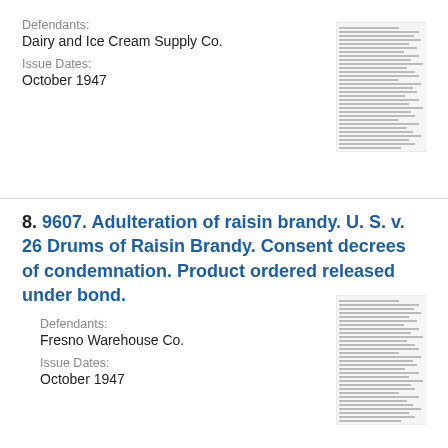Defendants:
Dairy and Ice Cream Supply Co.
Issue Dates:
October 1947
[Figure (screenshot): Thumbnail image of a government document page]
8. 9607. Adulteration of raisin brandy. U. S. v. 26 Drums of Raisin Brandy. Consent decrees of condemnation. Product ordered released under bond.
Defendants:
Fresno Warehouse Co.
Issue Dates:
October 1947
[Figure (screenshot): Thumbnail image of a government document page]